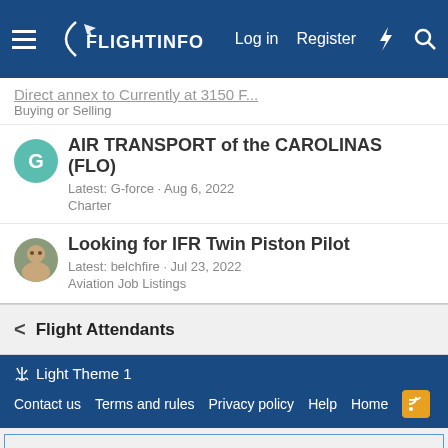FlightInfo — Log in | Register
Buying or Selling
AIR TRANSPORT of the CAROLINAS (FLO)
Latest: G-force · Aug 6, 2022
Charter
Looking for IFR Twin Piston Pilot
Latest: belchfire · Jul 23, 2022
Aviation Job Listings
< Flight Attendants
Light Theme 1 | Contact us | Terms and rules | Privacy policy | Help | Home
This site uses cookies to help personalise content, tailor your experience and to keep you logged in if you register.
By continuing to use this site, you are consenting to our use of cookies.